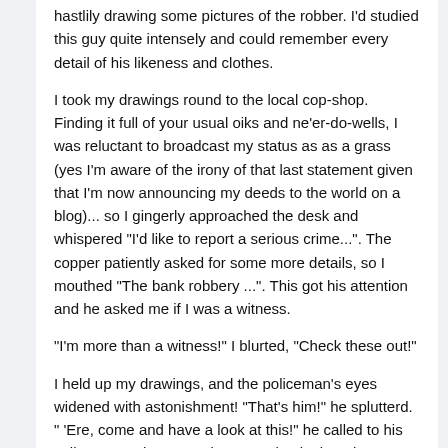hastlily drawing some pictures of the robber. I'd studied this guy quite intensely and could remember every detail of his likeness and clothes.
I took my drawings round to the local cop-shop. Finding it full of your usual oiks and ne'er-do-wells, I was reluctant to broadcast my status as as a grass (yes I'm aware of the irony of that last statement given that I'm now announcing my deeds to the world on a blog)... so I gingerly approached the desk and whispered "I'd like to report a serious crime...". The copper patiently asked for some more details, so I mouthed "The bank robbery ...". This got his attention and he asked me if I was a witness.
"I'm more than a witness!" I blurted, "Check these out!"
I held up my drawings, and the policeman's eyes widened with astonishment! "That's him!" he splutterd. " 'Ere, come and have a look at this!" he called to his colleagues. They trotted over, took a look and exclaimed "That is spot-on! It IS him!".
Seems they'd already picked up a suspect who matched my